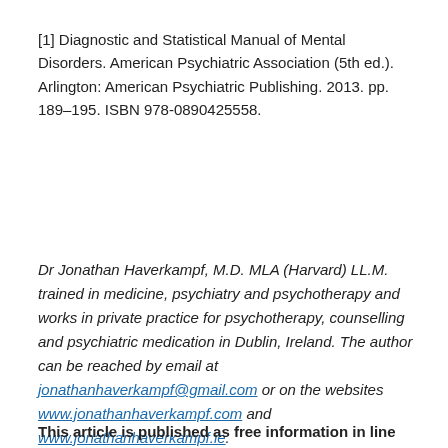[1] Diagnostic and Statistical Manual of Mental Disorders. American Psychiatric Association (5th ed.). Arlington: American Psychiatric Publishing. 2013. pp. 189–195. ISBN 978-0890425558.
Dr Jonathan Haverkampf, M.D. MLA (Harvard) LL.M. trained in medicine, psychiatry and psychotherapy and works in private practice for psychotherapy, counselling and psychiatric medication in Dublin, Ireland. The author can be reached by email at jonathanhaverkampf@gmail.com or on the websites www.jonathanhaverkampf.com and www.jonathanhaverkampf.ie.
This article is published as free information in line with an